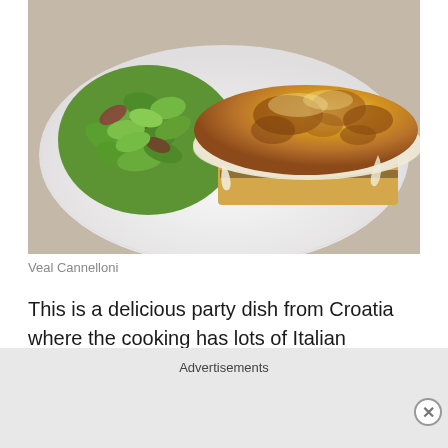[Figure (photo): A white plate with veal cannelloni covered in golden-brown melted cheese and béchamel sauce, served alongside a fresh green salad with mixed leaves including lamb's lettuce and red-veined leaves.]
Veal Cannelloni
This is a delicious party dish from Croatia where the cooking has lots of Italian influences. Most veal these days is ethical rose veal (even in Italy, where they're adamant
Advertisements